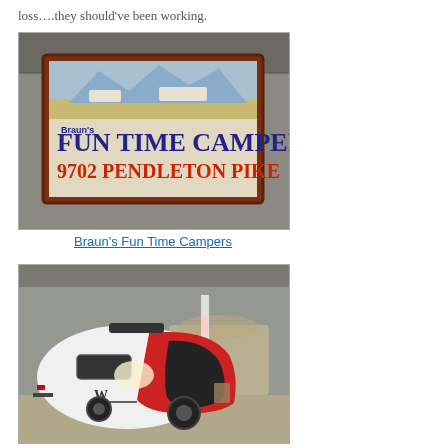loss….they should've been working.
[Figure (photo): Sign for Braun's Fun Time Campers at 9702 Pendleton Pike, displayed inside an exhibition hall]
Braun's Fun Time Campers
[Figure (photo): A white and red teardrop-style travel trailer camper on display in an exhibition hall]